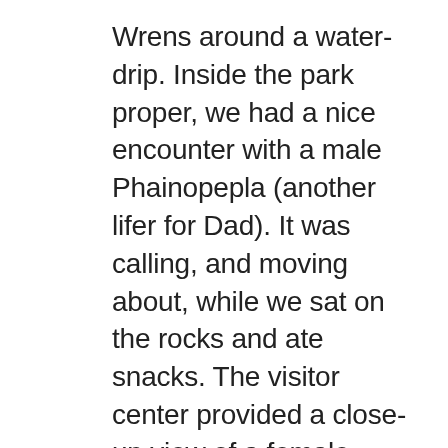Wrens around a water-drip. Inside the park proper, we had a nice encounter with a male Phainopepla (another lifer for Dad). It was calling, and moving about, while we sat on the rocks and ate snacks. The visitor center provided a close-up view of a female Costa's Hummingbird, and a fun encounter with a Greater Roadrunner in the parking lot. My mom, my wife, and my sons had never seen one before, and it posed for a minute or so, slowly bobbing its tail and occasionally raising its crest. Such cool birds.
Our airbnb was just outside the park in Yucca Valley, a couple of